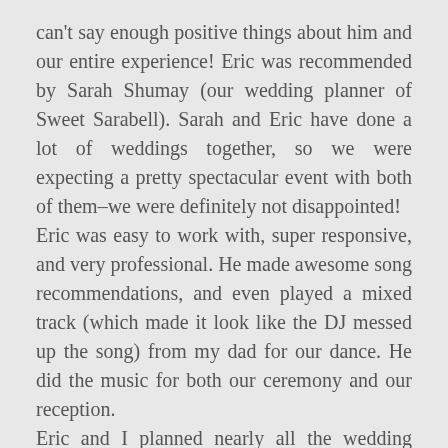can't say enough positive things about him and our entire experience! Eric was recommended by Sarah Shumay (our wedding planner of Sweet Sarabell). Sarah and Eric have done a lot of weddings together, so we were expecting a pretty spectacular event with both of them–we were definitely not disappointed!
Eric was easy to work with, super responsive, and very professional. He made awesome song recommendations, and even played a mixed track (which made it look like the DJ messed up the song) from my dad for our dance. He did the music for both our ceremony and our reception.
Eric and I planned nearly all the wedding music via email, which was really helpful for me with my busy job. He also offered for plenty of phone calls and to meet in person, but I was able to get exactly what I